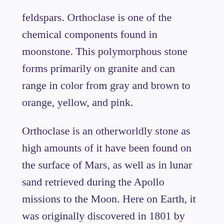feldspars. Orthoclase is one of the chemical components found in moonstone. This polymorphous stone forms primarily on granite and can range in color from gray and brown to orange, yellow, and pink.
Orthoclase is an otherworldly stone as high amounts of it have been found on the surface of Mars, as well as in lunar sand retrieved during the Apollo missions to the Moon. Here on Earth, it was originally discovered in 1801 by Rene Just Hauy. It was first named “orthose”, from the greek “orthos”, meaning straight, in reference to the fracture or cleavage of the stone. It’s name then changed again in 1823 and 1958 as scientist learned